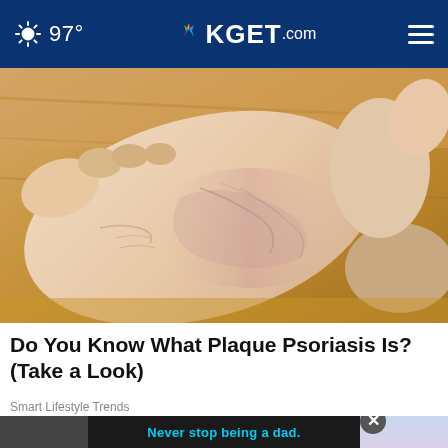97° KGET.com
[Figure (photo): Close-up photo of a human foot/ankle showing dry, scaly, reddened skin characteristic of plaque psoriasis on a wooden floor background]
Do You Know What Plaque Psoriasis Is? (Take a Look)
Smart Lifestyle Trends
[Figure (photo): Advertisement banner: black and white photo of a father and child with text 'Never stop being a dad.' in cyan on dark background, with a close button (X)]